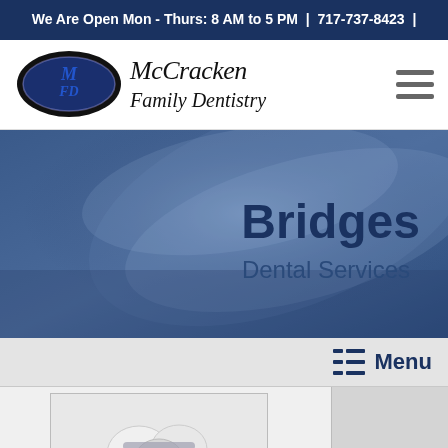We Are Open Mon - Thurs: 8 AM to 5 PM  |  717-737-8423  |
[Figure (logo): McCracken Family Dentistry logo with oval MFD emblem and text]
[Figure (illustration): Hero banner with blue gradient background showing 'Bridges' title and 'Dental Services' subtitle]
Bridges
Dental Services
Menu
[Figure (photo): Dental bridge/crown prosthetic teeth photo]